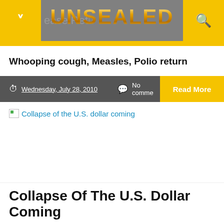UNSEALED — ease Return
Whooping cough, Measles, Polio return
Wednesday, July 28, 2010   No comments   Read More
[Figure (other): Broken image placeholder with alt text 'Collapse of the U.S. dollar coming']
Collapse Of The U.S. Dollar Coming